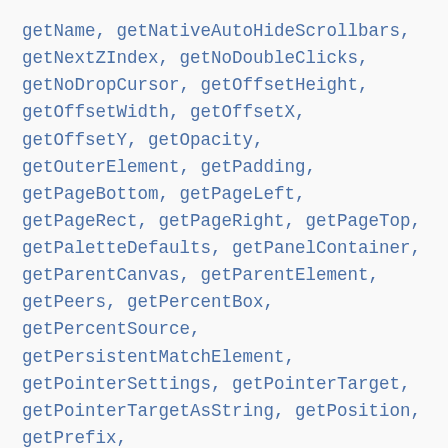getName, getNativeAutoHideScrollbars, getNextZIndex, getNoDoubleClicks, getNoDropCursor, getOffsetHeight, getOffsetWidth, getOffsetX, getOffsetY, getOpacity, getOuterElement, getPadding, getPageBottom, getPageLeft, getPageRect, getPageRight, getPageTop, getPaletteDefaults, getPanelContainer, getParentCanvas, getParentElement, getPeers, getPercentBox, getPercentSource, getPersistentMatchElement, getPointerSettings, getPointerTarget, getPointerTargetAsString, getPosition, getPrefix, getPrintChildrenAbsolutelyPositioned, getPrintHTML, getPrintHTML, getPrintStyleName, getPrompt, getProportionalResizeModifiers,